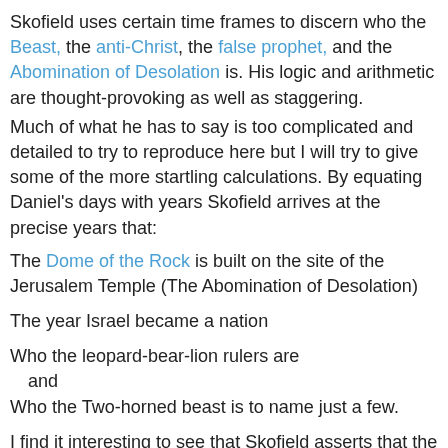Skofield uses certain time frames to discern who the Beast, the anti-Christ, the false prophet, and the Abomination of Desolation is. His logic and arithmetic are thought-provoking as well as staggering.
Much of what he has to say is too complicated and detailed to try to reproduce here but I will try to give some of the more startling calculations. By equating Daniel's days with years Skofield arrives at the precise years that:
The Dome of the Rock is built on the site of the Jerusalem Temple (The Abomination of Desolation)
The year Israel became a nation
Who the leopard-bear-lion rulers are
 and
Who the Two-horned beast is to name just a few.
I find it interesting to see that Skofield asserts that the two witnesses described in Revelation are the Jews and then the Christian church. I can see where this makes sense in that for the first millennia, in a world steeped in paganism that